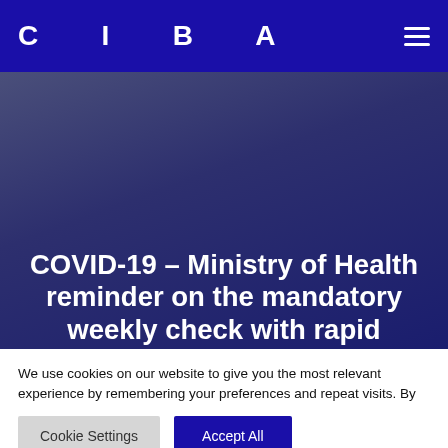CIBA
COVID-19 – Ministry of Health reminder on the mandatory weekly check with rapid
We use cookies on our website to give you the most relevant experience by remembering your preferences and repeat visits. By clicking "Accept All", you consent to the use of ALL the cookies. However, you may visit "Cookie Settings" to provide a controlled consent.
Cookie Settings | Accept All